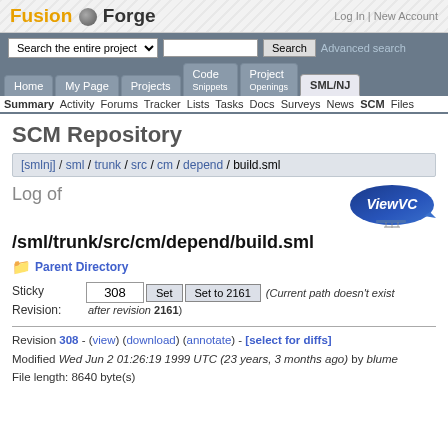Fusion Forge | Log In | New Account
Search the entire project | Search | Advanced search
Home | My Page | Projects | Code Snippets | Project Openings | SML/NJ
Summary Activity Forums Tracker Lists Tasks Docs Surveys News SCM Files
SCM Repository
[smlnj] / sml / trunk / src / cm / depend / build.sml
Log of
[Figure (logo): ViewVC blimp logo]
/sml/trunk/src/cm/depend/build.sml
Parent Directory
Sticky Revision: 308 Set Set to 2161 (Current path doesn't exist after revision 2161)
Revision 308 - (view) (download) (annotate) - [select for diffs]
Modified Wed Jun 2 01:26:19 1999 UTC (23 years, 3 months ago) by blume
File length: 8640 byte(s)